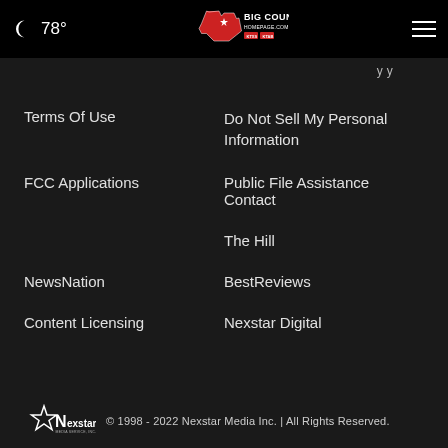78° [Big Country Homepage logo] [hamburger menu]
...y...y
Terms Of Use
Do Not Sell My Personal Information
FCC Applications
Public File Assistance Contact
The Hill
NewsNation
BestReviews
Content Licensing
Nexstar Digital
© 1998 - 2022 Nexstar Media Inc. | All Rights Reserved.